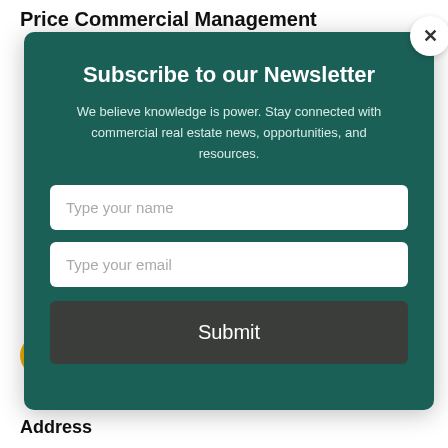Price Commercial Management
[Figure (screenshot): Newsletter subscription modal overlay on a dark teal background. Contains title 'Subscribe to our Newsletter', descriptive text, name and email input fields, and a Submit button. A close (X) button is in the top-right corner of the modal.]
Tenant Web Access Login >
Address